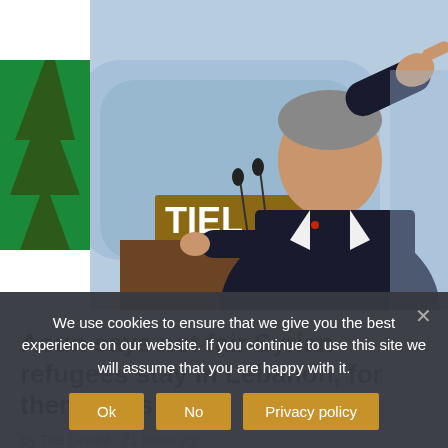[Figure (photo): A man in a dark suit with a blue tie pointing with his right arm raised, standing at a podium with microphones. A Lebanese cedar flag is visible in the background along with a partial text 'TIEL'.]
Aoun says not fair Syrian refugees stay in Lebanon, for them or us
By The Levant · 21 hours ago
President Michel Aoun said Wednesday that the effect of
We use cookies to ensure that we give you the best experience on our website. If you continue to use this site we will assume that you are happy with it.